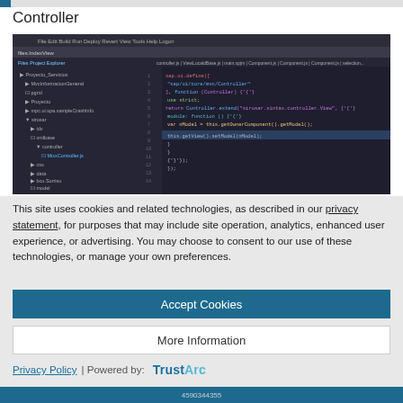Controller
[Figure (screenshot): IDE screenshot showing a file tree on the left with folders like MvcInicio, MvcInformacionGeneral, pgrid, Proyecto, etc. and code editor on the right showing JavaScript/Angular controller code with app.define, .factory, .controller, and functions including this.getOwnerComponent().getModel() and this.getView().setModel(nModel).]
This site uses cookies and related technologies, as described in our privacy statement, for purposes that may include site operation, analytics, enhanced user experience, or advertising. You may choose to consent to our use of these technologies, or manage your own preferences.
Accept Cookies
More Information
Privacy Policy | Powered by: TrustArc
4590344355